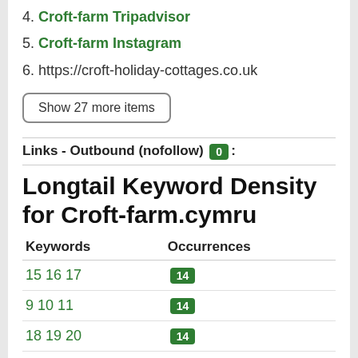4. Croft-farm Tripadvisor
5. Croft-farm Instagram
6. https://croft-holiday-cottages.co.uk
Show 27 more items
Links - Outbound (nofollow) 0 :
Longtail Keyword Density for Croft-farm.cymru
| Keywords | Occurrences |
| --- | --- |
| 15 16 17 | 14 |
| 9 10 11 | 14 |
| 18 19 20 | 14 |
| 17 18 19 | 14 |
| 16 17 18 | 14 |